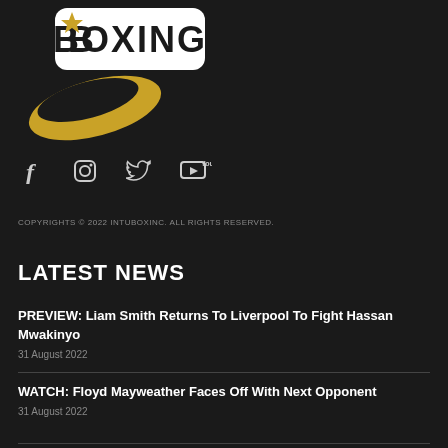[Figure (logo): Boxing logo with gold swoosh and white BOXING text on dark background]
[Figure (infographic): Social media icons: Facebook (f), Instagram (camera), Twitter (bird), YouTube (play button)]
COPYRIGHTS © 2022 INTUBOXINC. ALL RIGHTS RESERVED.
LATEST NEWS
PREVIEW: Liam Smith Returns To Liverpool To Fight Hassan Mwakinyo
31 August 2022
WATCH: Floyd Mayweather Faces Off With Next Opponent
31 August 2022